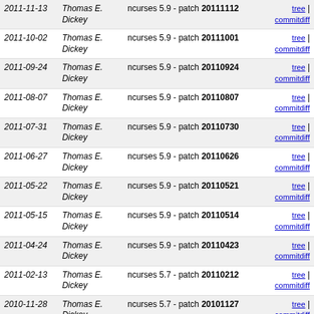| Date | Author | Commit | Links |
| --- | --- | --- | --- |
| 2011-11-13 | Thomas E. Dickey | ncurses 5.9 - patch 20111112 | tree | commitdiff |
| 2011-10-02 | Thomas E. Dickey | ncurses 5.9 - patch 20111001 | tree | commitdiff |
| 2011-09-24 | Thomas E. Dickey | ncurses 5.9 - patch 20110924 | tree | commitdiff |
| 2011-08-07 | Thomas E. Dickey | ncurses 5.9 - patch 20110807 | tree | commitdiff |
| 2011-07-31 | Thomas E. Dickey | ncurses 5.9 - patch 20110730 | tree | commitdiff |
| 2011-06-27 | Thomas E. Dickey | ncurses 5.9 - patch 20110626 | tree | commitdiff |
| 2011-05-22 | Thomas E. Dickey | ncurses 5.9 - patch 20110521 | tree | commitdiff |
| 2011-05-15 | Thomas E. Dickey | ncurses 5.9 - patch 20110514 | tree | commitdiff |
| 2011-04-24 | Thomas E. Dickey | ncurses 5.9 - patch 20110423 | tree | commitdiff |
| 2011-02-13 | Thomas E. Dickey | ncurses 5.7 - patch 20110212 | tree | commitdiff |
| 2010-11-28 | Thomas E. Dickey | ncurses 5.7 - patch 20101127 | tree | commitdiff |
| 2010-10-24 | Thomas E. Dickey | ncurses 5.7 - patch 20101023 | tree | commitdiff |
| 2010-10-03 | Thomas E. Dickey | ncurses 5.7 - patch 20101002 | tree | commitdiff |